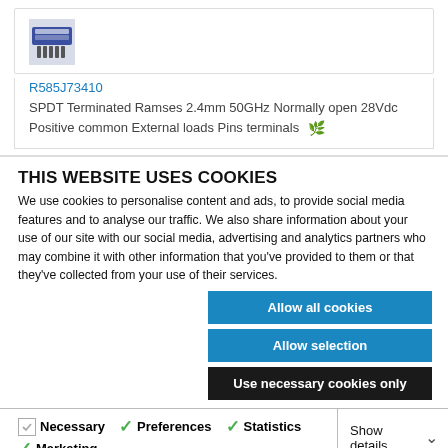[Figure (photo): Product thumbnail image of an electronic relay/switch component (R585J73410)]
R585J73410
SPDT Terminated Ramses 2.4mm 50GHz Normally open 28Vdc Positive common External loads Pins terminals
THIS WEBSITE USES COOKIES
We use cookies to personalise content and ads, to provide social media features and to analyse our traffic. We also share information about your use of our site with our social media, advertising and analytics partners who may combine it with other information that you've provided to them or that they've collected from your use of their services.
Allow all cookies
Allow selection
Use necessary cookies only
Necessary   Preferences   Statistics   Marketing   Show details